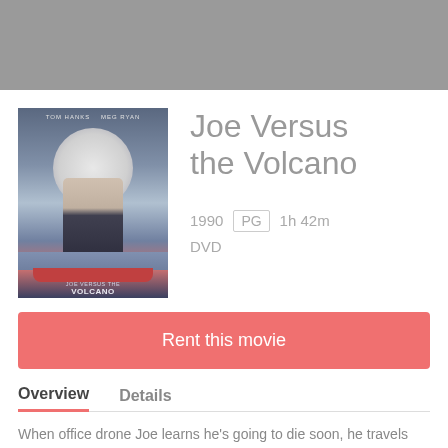[Figure (illustration): Movie poster for Joe Versus the Volcano featuring Tom Hanks and Meg Ryan standing together in front of a large moon, on a boat on water]
Joe Versus the Volcano
1990  PG  1h 42m  DVD
Rent this movie
Overview
Details
When office drone Joe learns he's going to die soon, he travels